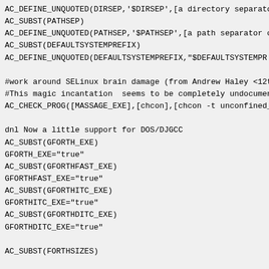AC_DEFINE_UNQUOTED(DIRSEP,'$DIRSEP',[a directory separato
AC_SUBST(PATHSEP)
AC_DEFINE_UNQUOTED(PATHSEP,'$PATHSEP',[a path separator c
AC_SUBST(DEFAULTSYSTEMPREFIX)
AC_DEFINE_UNQUOTED(DEFAULTSYSTEMPREFIX,"$DEFAULTSYSTEMPR

#work around SELinux brain damage (from Andrew Haley <12t
#This magic incantation  seems to be completely undocumen
AC_CHECK_PROG([MASSAGE_EXE],[chcon],[chcon -t unconfined_

dnl Now a little support for DOS/DJGCC
AC_SUBST(GFORTH_EXE)
GFORTH_EXE="true"
AC_SUBST(GFORTHFAST_EXE)
GFORTHFAST_EXE="true"
AC_SUBST(GFORTHITC_EXE)
GFORTHITC_EXE="true"
AC_SUBST(GFORTHDITC_EXE)
GFORTHDITC_EXE="true"

AC_SUBST(FORTHSIZES)

dnl if test "$PEEPHOLE" = "yes"
dnl then
dnl     PEEPHOLEFLAG="true"
dnl     AC_DEFINE(HAS_PEEPHOLE,,[Define if you want to use
dnl else
dnl     PEEPHOLEFLAG="false"
dnl fi
PEEPHOLEFLAG="true"